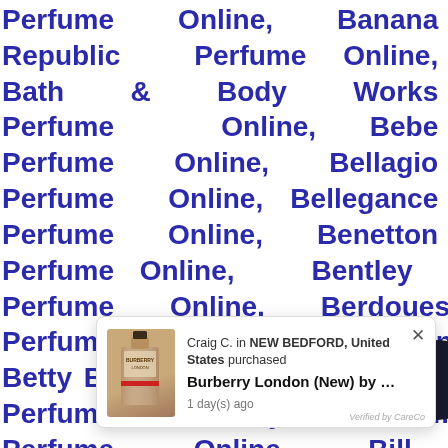Perfume Online, Banana Republic Perfume Online, Bath & Body Works Perfume Online, Bebe Perfume Online, Bellagio Perfume Online, Bellegance Perfume Online, Benetton Perfume Online, Bentley Perfume Online, Berdoues Perfume Online, Betsey Johnson Perfume Online, Betty Boop Perfume Online, Beverly Fragrances Perfume Online, Beyonce Perfume Online, Bijan Perfume Online, Bill Blass Perfume Online, Biotherm Perfume Online, Blue Up Perfume Online, Bob Mack... Perfume Online, 20... Perfume Online, Bond No. 9 Perfume Online,
[Figure (screenshot): Popup notification showing Craig C. in NEW BEDFORD, United States purchased Burberry London (New) by ... 1 day(s) ago. Verified by CareCo. Shows product image of Burberry London perfume bottle.]